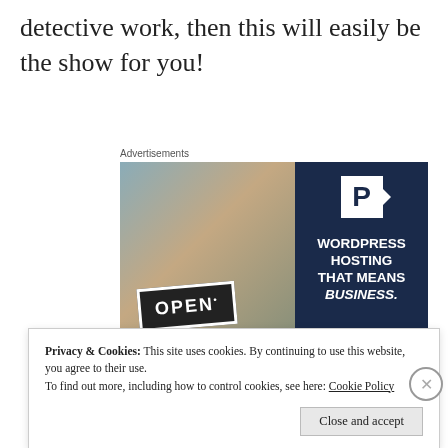detective work, then this will easily be the show for you!
Advertisements
[Figure (photo): Advertisement for WordPress hosting featuring a woman holding an OPEN sign and text 'WORDPRESS HOSTING THAT MEANS BUSINESS.']
Privacy & Cookies: This site uses cookies. By continuing to use this website, you agree to their use.
To find out more, including how to control cookies, see here: Cookie Policy
Close and accept